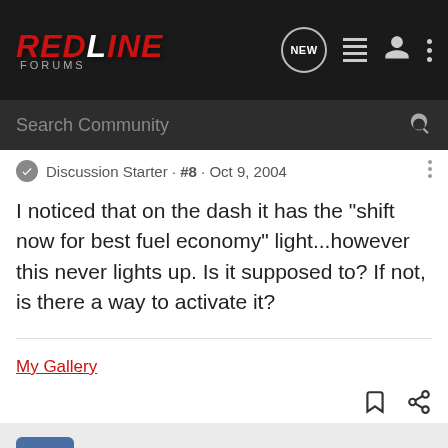RedLine Forums
Search Community
Discussion Starter · #8 · Oct 9, 2004
I noticed that on the dash it has the "shift now for best fuel economy" light...however this never lights up. Is it supposed to? If not, is there a way to activate it?
My Gallery
Tom01SC2 · Registered
Joined Oct 8, 2004 · 524 Posts